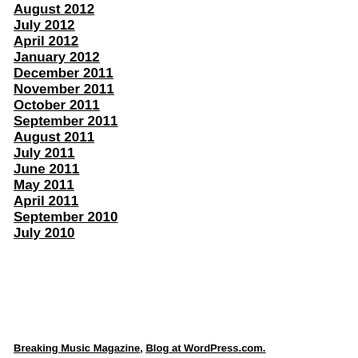August 2012
July 2012
April 2012
January 2012
December 2011
November 2011
October 2011
September 2011
August 2011
July 2011
June 2011
May 2011
April 2011
September 2010
July 2010
Breaking Music Magazine, Blog at WordPress.com.